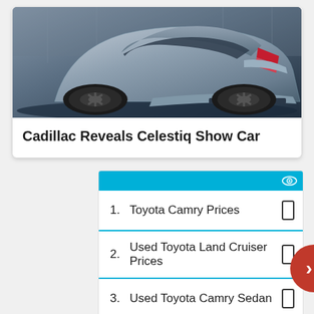[Figure (photo): Rear three-quarter view of a silver Cadillac Celestiq show car concept sedan]
Cadillac Reveals Celestiq Show Car
1.  Toyota Camry Prices
2.  Used Toyota Land Cruiser Prices
3.  Used Toyota Camry Sedan
4.  Toyota RAV4 Hybrid Specials